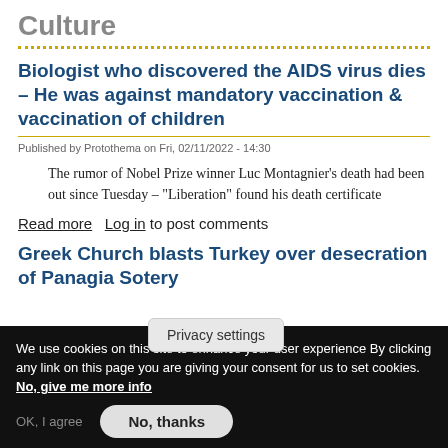Culture
Biologist who discovered the AIDS virus dies – He was against mandatory vaccination & vaccination of children
Published by Protothema on Fri, 02/11/2022 - 14:30
The rumor of Nobel Prize winner Luc Montagnier's death had been out since Tuesday – "Liberation" found his death certificate
Read more   Log in to post comments
Greek Church blasts Turkey over desecration of Panagia So[…]tery
Privacy settings
We use cookies on this site to enhance your user experience By clicking any link on this page you are giving your consent for us to set cookies.
No, give me more info
OK, I agree   No, thanks